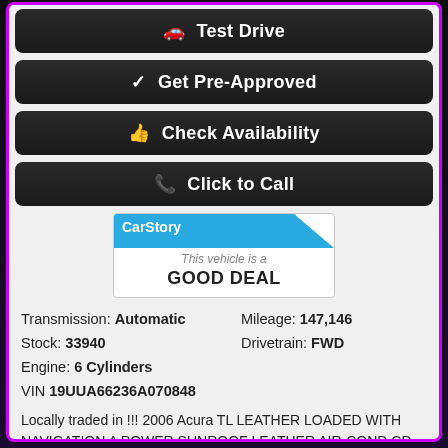Test Drive
Get Pre-Approved
Check Availability
Click to Call
[Figure (infographic): CarStory badge showing 'This vehicle is a GOOD DEAL']
Transmission: Automatic   Mileage: 147,146
Stock: 33940   Drivetrain: FWD
Engine: 6 Cylinders
VIN 19UUA66236A070848
Locally traded in !!! 2006 Acura TL LEATHER LOADED WITH NAVIGATION A POWER SUNROOF LEATHER AIR-COND CD STEREO PL PW PS PDB ALLOYS AND